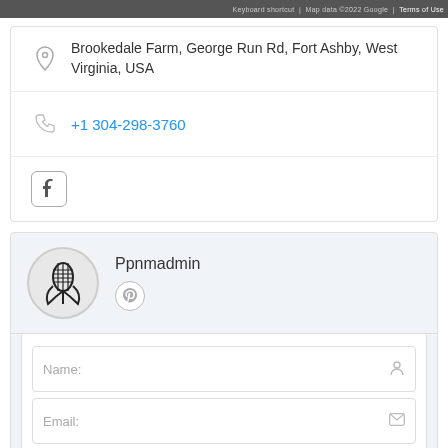Keyboard shortcut | Map data ©2022 Google | Terms of Use
Brookedale Farm, George Run Rd, Fort Ashby, West Virginia, USA
+1 304-298-3760
[Figure (logo): Facebook icon in rounded square]
Ppnmadmin
[Figure (logo): Pinterest icon in circle]
Name:
Email:
Phone